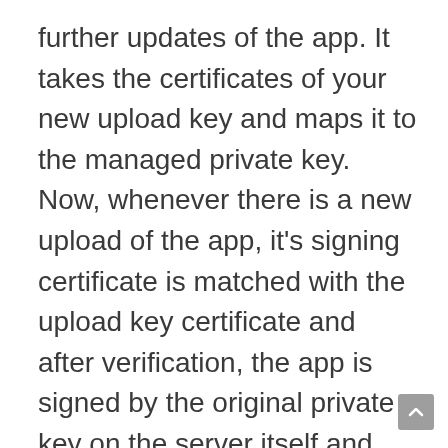further updates of the app. It takes the certificates of your new upload key and maps it to the managed private key. Now, whenever there is a new upload of the app, it's signing certificate is matched with the upload key certificate and after verification, the app is signed by the original private key on the server itself and delivered to the user. The advantage comes where you lose your key, its password or it is compromised. Before App Signing program, if your key got lost, you had to launch your app under a new package name, losing your existing user base. With Google managing your key, if you lose your upload key, then the